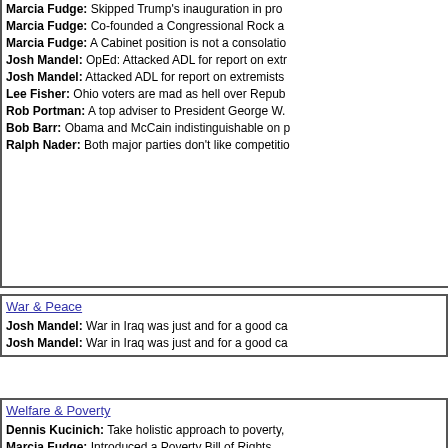Marcia Fudge: Skipped Trump's inauguration in protest.
Marcia Fudge: Co-founded a Congressional Rock against racism.
Marcia Fudge: A Cabinet position is not a consolation prize.
Josh Mandel: OpEd: Attacked ADL for report on extremists.
Josh Mandel: Attacked ADL for report on extremists.
Lee Fisher: Ohio voters are mad as hell over Republicans.
Rob Portman: A top adviser to President George W.
Bob Barr: Obama and McCain indistinguishable on policy.
Ralph Nader: Both major parties don't like competition.
War & Peace
Josh Mandel: War in Iraq was just and for a good cause.
Josh Mandel: War in Iraq was just and for a good cause.
Welfare & Poverty
Dennis Kucinich: Take holistic approach to poverty.
Marcia Fudge: Introduced a Poverty Bill of Rights.
Marcia Fudge: We have to deal with lack of low, moderate income housing.
Click for quotations from other sources by:
Bernie Moreno Republican Challenger Ohio
Bob Barr Libertarian
Chuck Baldwin Constitution Party
Dennis Kucinich Ohio Democratic candidate for Governor
Jane Timken Republican Challenger Ohio
John Kasich Ohio Republican Ohio Governor
Jon Husted Ohio Republican candidate for Ohio Governor
Josh Mandel Former Republican Nominee (withdrew 2018) Ohio
Lee Fisher 2010 Democratic Senate Challenger; currently Lt. Gov. Ohio
Marcia Fudge Ohio HUD Secretary